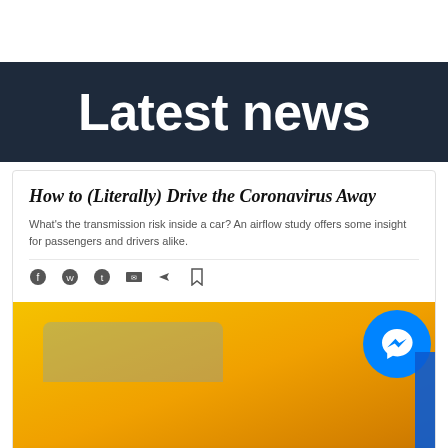Latest news
How to (Literally) Drive the Coronavirus Away
What's the transmission risk inside a car? An airflow study offers some insight for passengers and drivers alike.
[Figure (screenshot): Article page screenshot showing a yellow taxi cab with a messenger chat popup overlay reading 'Chat with Acool: Car Ventilation Sy...' and 'Hi! How can we help you?']
Chat with Acool: Car Ventilation Sy...
Hi! How can we help you?